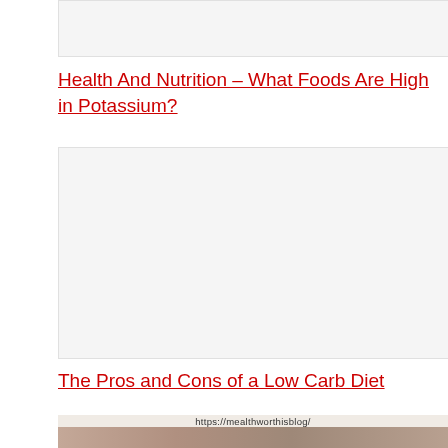[Figure (photo): Placeholder image area at top of page, light gray background]
Health And Nutrition – What Foods Are High in Potassium?
[Figure (photo): Large placeholder/white image area in the middle of the page]
The Pros and Cons of a Low Carb Diet
[Figure (photo): Partial photo at bottom showing food/grains texture with URL overlay: https://mealthworthisblog/]